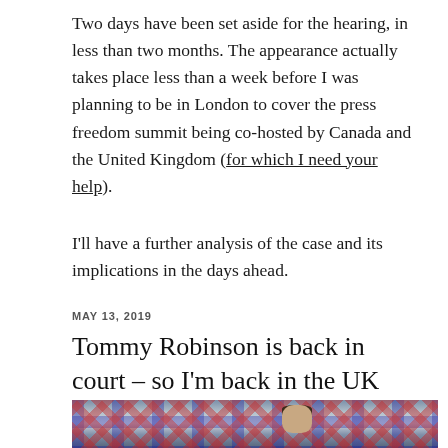Two days have been set aside for the hearing, in less than two months. The appearance actually takes place less than a week before I was planning to be in London to cover the press freedom summit being co-hosted by Canada and the United Kingdom (for which I need your help).
I'll have a further analysis of the case and its implications in the days ahead.
MAY 13, 2019
Tommy Robinson is back in court – so I'm back in the UK
[Figure (photo): Photo of a man (Tommy Robinson) in front of a crowd waving Union Jack flags. The man has short dark hair and is photographed from a low angle. The background is filled with red, white and blue Union Jack flags.]